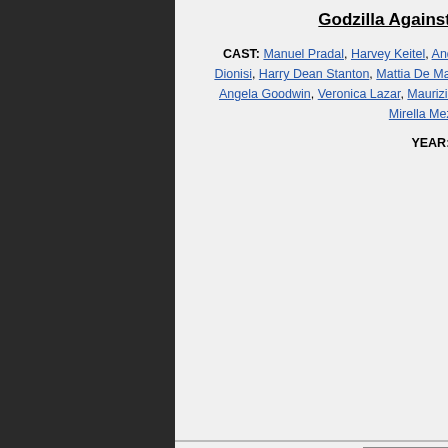Godzilla Against MechaGodzilla
CAST: Manuel Pradal, Harvey Keitel, Andie MacDowell, Francesca Neri, Stefano Dionisi, Harry Dean Stanton, Mattia De Martino, Asia Argento, Luigi Maria Burruano, Angela Goodwin, Veronica Lazar, Maurizio Nicolosi, Tony Palazzo, Mia Benedetta, Mirella Mezzeranghi.
YEAR: 2002
[Figure (photo): Movie poster for Space Cowboys showing faces of actors against a dark blue/black space background with Earth visible at the bottom and the title Space Cowboys in white text]
Space Cowboys
CAST: Eastwood, Clint, Clint Eastwood, Tommy Lee Jones, James Garner, James Cromwell, Donald Sutherland, Marcia Gay Harden, Loren Dean, William Devane, Rade Serbedzija, Courtney B. Vance, Barbara...